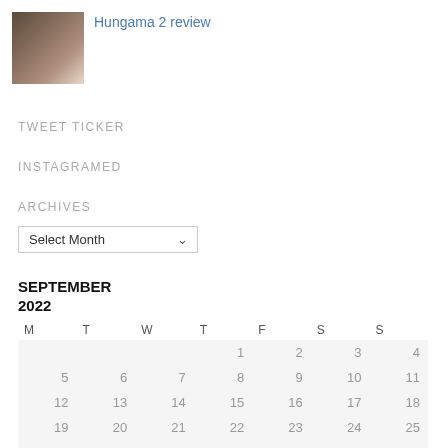[Figure (photo): Thumbnail photo of two people (man and woman) from Hungama 2]
Hungama 2 review
TWEET TICKER
INSTAGRAMED
ARCHIVES
Select Month
| M | T | W | T | F | S | S |
| --- | --- | --- | --- | --- | --- | --- |
|  |  |  | 1 | 2 | 3 | 4 |
| 5 | 6 | 7 | 8 | 9 | 10 | 11 |
| 12 | 13 | 14 | 15 | 16 | 17 | 18 |
| 19 | 20 | 21 | 22 | 23 | 24 | 25 |
| 26 | 27 | 28 | 29 | 30 |  |  |
« Aug